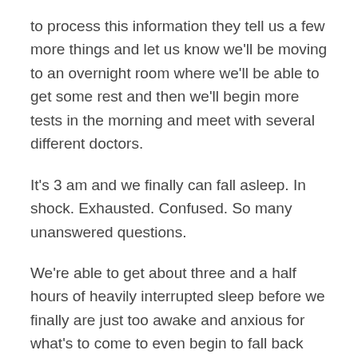to process this information they tell us a few more things and let us know we'll be moving to an overnight room where we'll be able to get some rest and then we'll begin more tests in the morning and meet with several different doctors.
It's 3 am and we finally can fall asleep. In shock. Exhausted. Confused. So many unanswered questions.
We're able to get about three and a half hours of heavily interrupted sleep before we finally are just too awake and anxious for what's to come to even begin to fall back asleep.
The first doctor to come see us that morning was the neurologist with the CT scan results. And this is when our